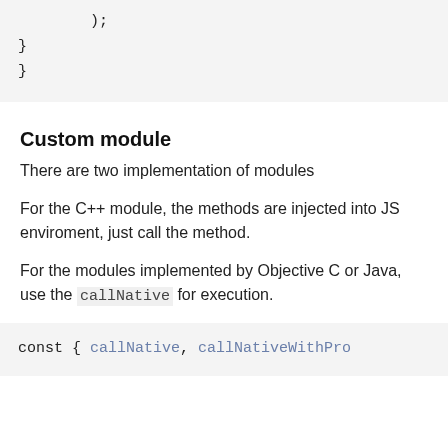[Figure (screenshot): Code block showing closing braces: );  }  }]
Custom module
There are two implementation of modules
For the C++ module, the methods are injected into JS enviroment, just call the method.
For the modules implemented by Objective C or Java, use the callNative for execution.
[Figure (screenshot): Code block showing: const { callNative, callNativeWithPro]